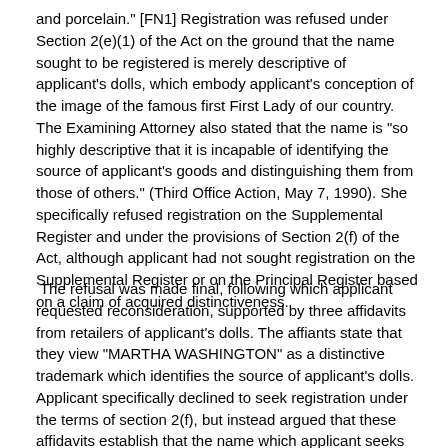and porcelain." [FN1] Registration was refused under Section 2(e)(1) of the Act on the ground that the name sought to be registered is merely descriptive of applicant's dolls, which embody applicant's conception of the image of the famous first First Lady of our country. The Examining Attorney also stated that the name is "so highly descriptive that it is incapable of identifying the source of applicant's goods and distinguishing them from those of others." (Third Office Action, May 7, 1990). She specifically refused registration on the Supplemental Register and under the provisions of Section 2(f) of the Act, although applicant had not sought registration on the Supplemental Register or on the Principal Register based on a claim of acquired distinctiveness.
The refusal was made final, following which applicant requested reconsideration, supported by three affidavits from retailers of applicant's dolls. The affiants state that they view "MARTHA WASHINGTON" as a distinctive trademark which identifies the source of applicant's dolls. Applicant specifically declined to seek registration under the terms of section 2(f), but instead argued that these affidavits establish that the name which applicant seeks to